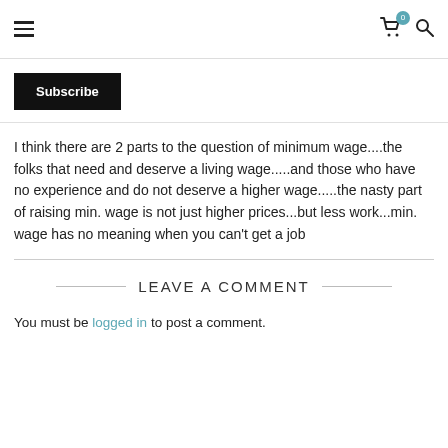≡  [cart icon with badge 0]  [search icon]
Subscribe
I think there are 2 parts to the question of minimum wage....the folks that need and deserve a living wage.....and those who have no experience and do not deserve a higher wage.....the nasty part of raising min. wage is not just higher prices...but less work...min. wage has no meaning when you can't get a job
LEAVE A COMMENT
You must be logged in to post a comment.